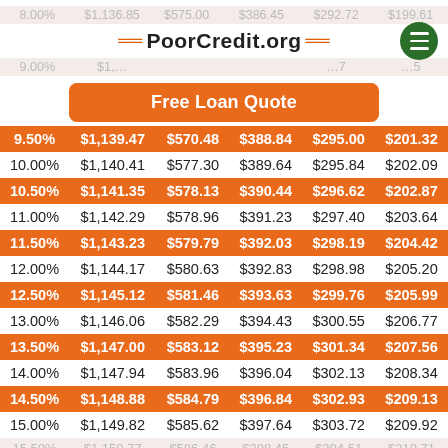PoorCredit.org
Free Loan Quote
| Rate | 12 mo | 24 mo | 36 mo | 48 mo | 60 mo |
| --- | --- | --- | --- | --- | --- |
| 9.50% | $1,139.47 | $570.48 | $388.84 | $295.00 | $201.32 |
| 10.00% | $1,140.41 | $577.30 | $389.64 | $295.84 | $202.09 |
| 10.50% | $1,141.35 | $578.13 | $390.44 | $296.62 | $202.87 |
| 11.00% | $1,142.29 | $578.96 | $391.23 | $297.40 | $203.64 |
| 11.50% | $1,143.23 | $579.79 | $392.03 | $298.19 | $204.42 |
| 12.00% | $1,144.17 | $580.63 | $392.83 | $298.98 | $205.20 |
| 12.50% | $1,145.12 | $581.46 | $393.63 | $299.76 | $205.99 |
| 13.00% | $1,146.06 | $582.29 | $394.43 | $300.55 | $206.77 |
| 13.50% | $1,147.00 | $583.12 | $395.23 | $301.34 | $207.56 |
| 14.00% | $1,147.94 | $583.96 | $396.04 | $302.13 | $208.34 |
| 14.50% | $1,148.88 | $584.79 | $396.84 | $302.93 | $209.13 |
| 15.00% | $1,149.82 | $585.62 | $397.64 | $303.72 | $209.92 |
| 15.50% | $1,150.77 | $586.46 | $398.45 | $304.51 | $210.71 |